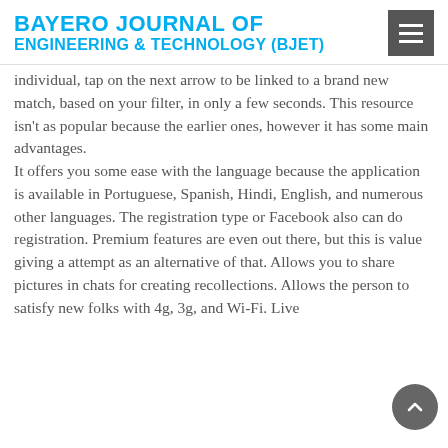BAYERO JOURNAL OF ENGINEERING & TECHNOLOGY (BJET)
individual, tap on the next arrow to be linked to a brand new match, based on your filter, in only a few seconds. This resource isn't as popular because the earlier ones, however it has some main advantages. It offers you some ease with the language because the application is available in Portuguese, Spanish, Hindi, English, and numerous other languages. The registration type or Facebook also can do registration. Premium features are even out there, but this is value giving a attempt as an alternative of that. Allows you to share pictures in chats for creating recollections. Allows the person to satisfy new folks with 4g, 3g, and Wi-Fi. Live